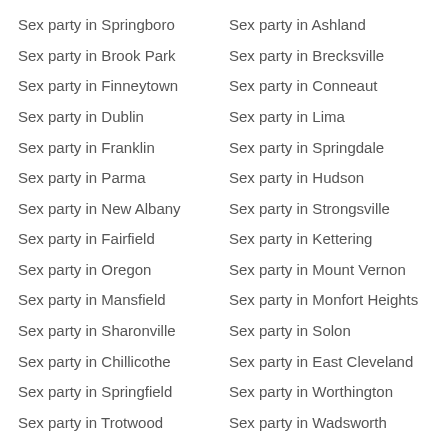Sex party in Springboro
Sex party in Ashland
Sex party in Brook Park
Sex party in Brecksville
Sex party in Finneytown
Sex party in Conneaut
Sex party in Dublin
Sex party in Lima
Sex party in Franklin
Sex party in Springdale
Sex party in Parma
Sex party in Hudson
Sex party in New Albany
Sex party in Strongsville
Sex party in Fairfield
Sex party in Kettering
Sex party in Oregon
Sex party in Mount Vernon
Sex party in Mansfield
Sex party in Monfort Heights
Sex party in Sharonville
Sex party in Solon
Sex party in Chillicothe
Sex party in East Cleveland
Sex party in Springfield
Sex party in Worthington
Sex party in Trotwood
Sex party in Wadsworth